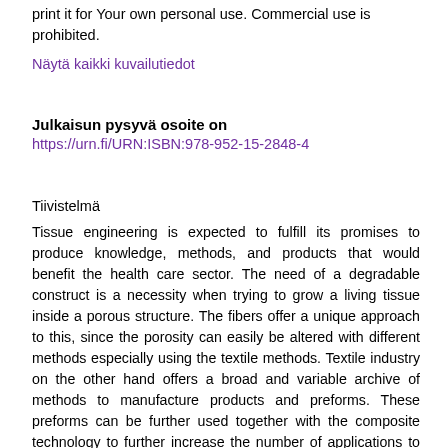print it for Your own personal use. Commercial use is prohibited.
Näytä kaikki kuvailutiedot
Julkaisun pysyvä osoite on
https://urn.fi/URN:ISBN:978-952-15-2848-4
Tiivistelmä
Tissue engineering is expected to fulfill its promises to produce knowledge, methods, and products that would benefit the health care sector. The need of a degradable construct is a necessity when trying to grow a living tissue inside a porous structure. The fibers offer a unique approach to this, since the porosity can easily be altered with different methods especially using the textile methods. Textile industry on the other hand offers a broad and variable archive of methods to manufacture products and preforms. These preforms can be further used together with the composite technology to further increase the number of applications to which they can be used. When combining different fields of sciences it is possible to manufacture a living tissue, based on fibrous degradable constructs. Thus fibers and fibrous products are versatile preforms that can be shaped and designed to fulfill many of the demands in the field of tissue engineering.